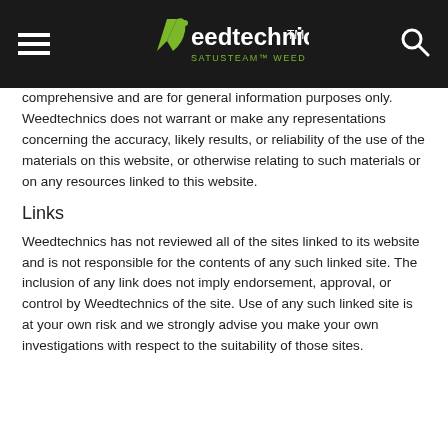Weedtechnics™ SATUSTEAM™ WEED CONTROL
comprehensive and are for general information purposes only. Weedtechnics does not warrant or make any representations concerning the accuracy, likely results, or reliability of the use of the materials on this website, or otherwise relating to such materials or on any resources linked to this website.
Links
Weedtechnics has not reviewed all of the sites linked to its website and is not responsible for the contents of any such linked site. The inclusion of any link does not imply endorsement, approval, or control by Weedtechnics of the site. Use of any such linked site is at your own risk and we strongly advise you make your own investigations with respect to the suitability of those sites.